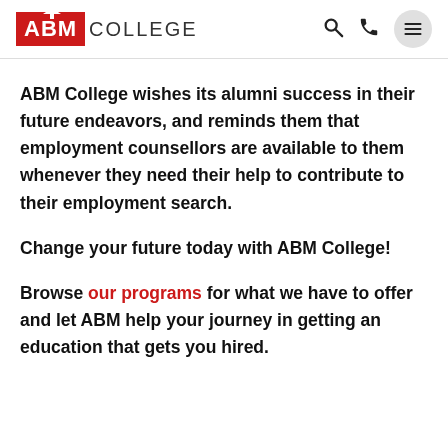ABM COLLEGE
ABM College wishes its alumni success in their future endeavors, and reminds them that employment counsellors are available to them whenever they need their help to contribute to their employment search.
Change your future today with ABM College!
Browse our programs for what we have to offer and let ABM help your journey in getting an education that gets you hired.